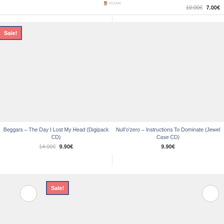10.00€ 7.00€
[Figure (screenshot): Sale badge overlay on product card image placeholder for Beggars - The Day I Lost My Head (Digipack CD)]
Beggars – The Day I Lost My Head (Digipack CD) 14.00€ 9.90€
[Figure (screenshot): Product card image placeholder for Null'o'zero – Instructions To Dominate (Jewel Case CD)]
Null'o'zero – Instructions To Dominate (Jewel Case CD) 9.90€
[Figure (screenshot): Partial product card with Sale badge, bottom row left]
[Figure (screenshot): Partial product card, bottom row right]